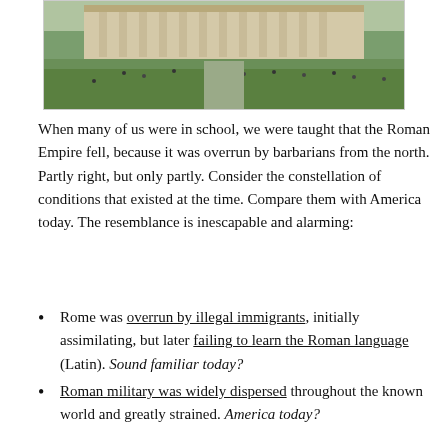[Figure (photo): Aerial or elevated view of a large classical building with columns, green lawn, and many people on the plaza and surrounding area.]
When many of us were in school, we were taught that the Roman Empire fell, because it was overrun by barbarians from the north. Partly right, but only partly. Consider the constellation of conditions that existed at the time. Compare them with America today. The resemblance is inescapable and alarming:
Rome was overrun by illegal immigrants, initially assimilating, but later failing to learn the Roman language (Latin). Sound familiar today?
Roman military was widely dispersed throughout the known world and greatly strained. America today?